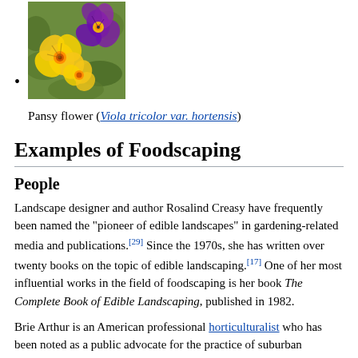[Figure (photo): Photo of pansy flowers with yellow and purple petals against green foliage]
Pansy flower (Viola tricolor var. hortensis)
Examples of Foodscaping
People
Landscape designer and author Rosalind Creasy have frequently been named the "pioneer of edible landscapes" in gardening-related media and publications.[29] Since the 1970s, she has written over twenty books on the topic of edible landscaping.[17] One of her most influential works in the field of foodscaping is her book The Complete Book of Edible Landscaping, published in 1982.
Brie Arthur is an American professional horticulturalist who has been noted as a public advocate for the practice of suburban foodscaping.[17] In order to challenge the idea that ornamental landscapes can't involve edible plants, she has spoken publicly at